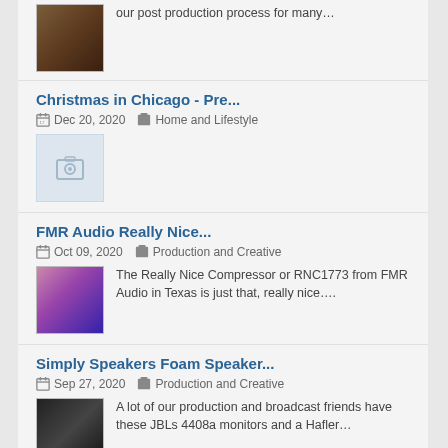our post production process for many…
Christmas in Chicago - Pre...
Dec 20, 2020   Home and Lifestyle
[Figure (photo): Placeholder camera icon thumbnail]
FMR Audio Really Nice...
Oct 09, 2020   Production and Creative
[Figure (photo): Photo thumbnail with pink/purple lights in a studio]
The Really Nice Compressor or RNC1773 from FMR Audio in Texas is just that, really nice….
Simply Speakers Foam Speaker...
Sep 27, 2020   Production and Creative
[Figure (photo): Photo thumbnail of speaker monitors in a studio]
A lot of our production and broadcast friends have these JBLs 4408a monitors and a Hafler…
A Good, Basic Office Chair...
Sep 13, 2020   Home and Lifestyle